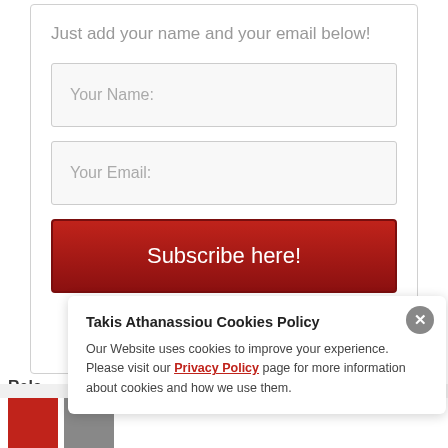Just add your name and your email below!
Your Name:
Your Email:
Subscribe here!
Rela
Takis Athanassiou Cookies Policy
Our Website uses cookies to improve your experience. Please visit our Privacy Policy page for more information about cookies and how we use them.